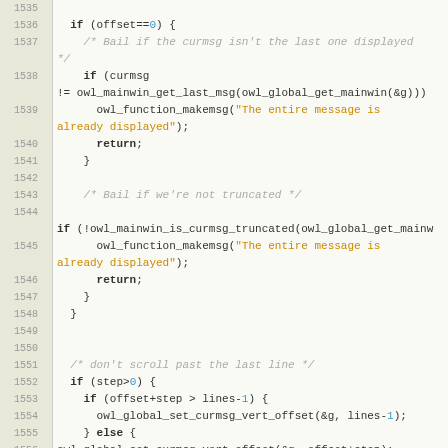[Figure (screenshot): Source code viewer showing C code lines 1535-1561 with line numbers on left, syntax highlighting: keywords in bold, comments in italic gray, string literals in orange, numeric literals in blue.]